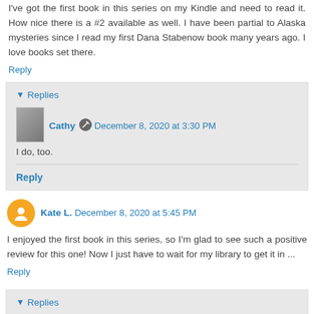I've got the first book in this series on my Kindle and need to read it. How nice there is a #2 available as well. I have been partial to Alaska mysteries since I read my first Dana Stabenow book many years ago. I love books set there.
Reply
Replies
Cathy  December 8, 2020 at 3:30 PM
I do, too.
Reply
Kate L.  December 8, 2020 at 5:45 PM
I enjoyed the first book in this series, so I'm glad to see such a positive review for this one! Now I just have to wait for my library to get it in ...
Reply
Replies